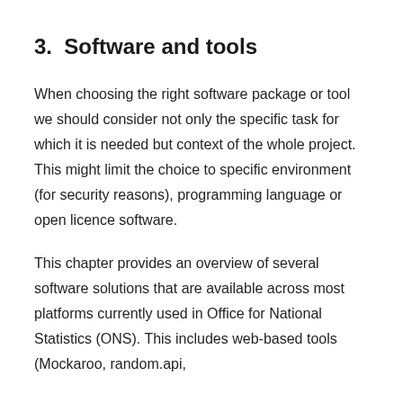3.  Software and tools
When choosing the right software package or tool we should consider not only the specific task for which it is needed but context of the whole project. This might limit the choice to specific environment (for security reasons), programming language or open licence software.
This chapter provides an overview of several software solutions that are available across most platforms currently used in Office for National Statistics (ONS). This includes web-based tools (Mockaroo, random.api,